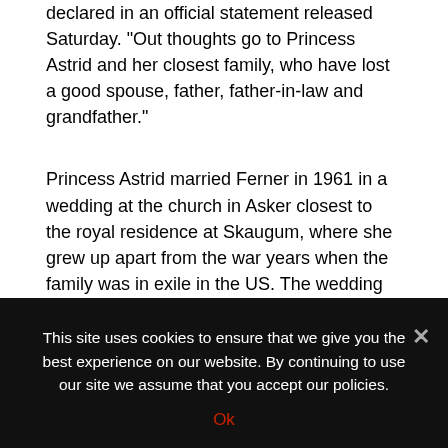declared in an official statement released Saturday. "Out thoughts go to Princess Astrid and her closest family, who have lost a good spouse, father, father-in-law and grandfather."
Princess Astrid married Ferner in 1961 in a wedding at the church in Asker closest to the royal residence at Skaugum, where she grew up apart from the war years when the family was in exile in the US. The wedding was controversial at the time because Ferner was divorced, and neither the bishop of Oslo nor the local pastor at the church in Asker would marry them.
This site uses cookies to ensure that we give you the best experience on our website. By continuing to use our site we assume that you accept our policies.
Ok